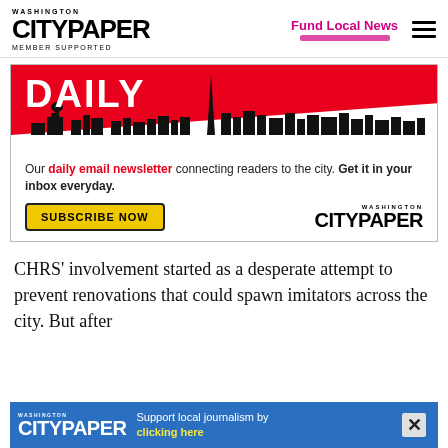WASHINGTON CITYPAPER MEMBER SUPPORTED | Fund Local News
[Figure (illustration): Washington City Paper daily email newsletter advertisement with red background, DC skyline silhouette, DAILY heading, subscribe button, and City Paper logo]
CHRS’ involvement started as a desperate attempt to prevent renovations that could spawn imitators across the city. But after
[Figure (illustration): Washington City Paper bottom banner ad on blue background: Support local journalism by clicking here]